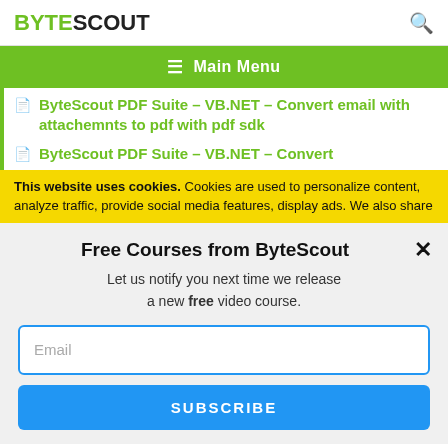BYTESCOUT
≡  Main Menu
ByteScout PDF Suite – VB.NET – Convert email with attachemnts to pdf with pdf sdk
ByteScout PDF Suite – VB.NET – Convert
This website uses cookies. Cookies are used to personalize content, analyze traffic, provide social media features, display ads. We also share
Free Courses from ByteScout
Let us notify you next time we release a new free video course.
Email
SUBSCRIBE